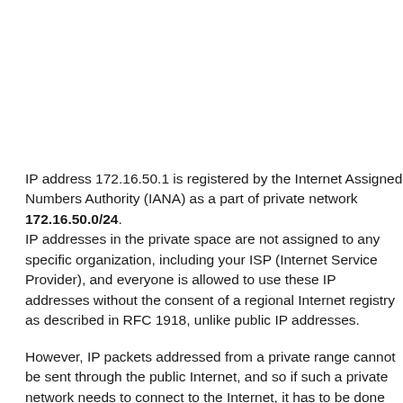IP address 172.16.50.1 is registered by the Internet Assigned Numbers Authority (IANA) as a part of private network 172.16.50.0/24. IP addresses in the private space are not assigned to any specific organization, including your ISP (Internet Service Provider), and everyone is allowed to use these IP addresses without the consent of a regional Internet registry as described in RFC 1918, unlike public IP addresses.
However, IP packets addressed from a private range cannot be sent through the public Internet, and so if such a private network needs to connect to the Internet, it has to be done through a network address translator (also called NAT) gateway, or a proxy server (usually reachable on port 8080 or 8081 if it doesn't work directly).
An example of a NAT gateway would be a wired or wireless